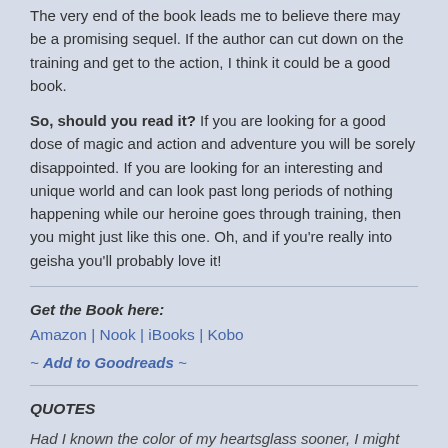The very end of the book leads me to believe there may be a promising sequel. If the author can cut down on the training and get to the action, I think it could be a good book.
So, should you read it? If you are looking for a good dose of magic and action and adventure you will be sorely disappointed. If you are looking for an interesting and unique world and can look past long periods of nothing happening while our heroine goes through training, then you might just like this one. Oh, and if you're really into geisha you'll probably love it!
Get the Book here:
Amazon | Nook | iBooks | Kobo
~ Add to Goodreads ~
QUOTES
Had I known the color of my heartsglass sooner, I might have been